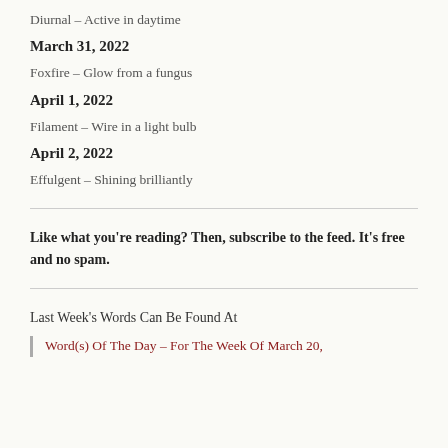Diurnal – Active in daytime
March 31, 2022
Foxfire – Glow from a fungus
April 1, 2022
Filament – Wire in a light bulb
April 2, 2022
Effulgent – Shining brilliantly
Like what you're reading? Then, subscribe to the feed. It's free and no spam.
Last Week's Words Can Be Found At
Word(s) Of The Day – For The Week Of March 20,